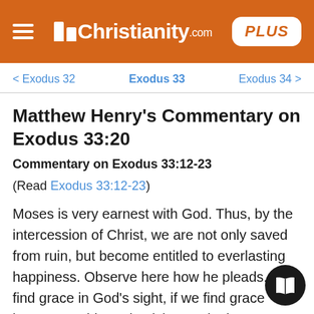Christianity.com PLUS
< Exodus 32   Exodus 33   Exodus 34 >
Matthew Henry's Commentary on Exodus 33:20
Commentary on Exodus 33:12-23
(Read Exodus 33:12-23)
Moses is very earnest with God. Thus, by the intercession of Christ, we are not only saved from ruin, but become entitled to everlasting happiness. Observe here how he pleads. We find grace in God's sight, if we find grace hearts to guide and quicken us in the way